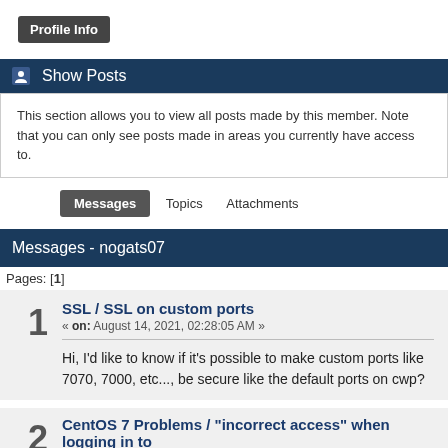Profile Info
Show Posts
This section allows you to view all posts made by this member. Note that you can only see posts made in areas you currently have access to.
Messages  Topics  Attachments
Messages - nogats07
Pages: [1]
1  SSL / SSL on custom ports
« on: August 14, 2021, 02:28:05 AM »
Hi, I'd like to know if it's possible to make custom ports like 7070, 7000, etc..., be secure like the default ports on cwp?
2  CentOS 7 Problems / "incorrect access" when logging in to